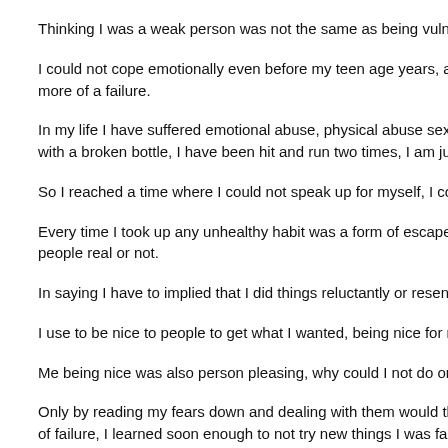Thinking I was a weak person was not the same as being vulnerable.
I could not cope emotionally even before my teen age years, as a teenage more of a failure.
In my life I have suffered emotional abuse, physical abuse sexual abuse, I with a broken bottle, I have been hit and run two times, I am just so lucky,
So I reached a time where I could not speak up for myself, I could not stan
Every time I took up any unhealthy habit was a form of escape, one thing w people real or not.
In saying I have to implied that I did things reluctantly or resentfully, by say
I use to be nice to people to get what I wanted, being nice for me was pers
Me being nice was also person pleasing, why could I not do or say things f
Only by reading my fears down and dealing with them would they reduce f of failure, I learned soon enough to not try new things I was failing myself, tax time, fear of bills arriving at our home, fear of not being able to do my j My fears indicated the anxiety I was putting myself through, the build up of